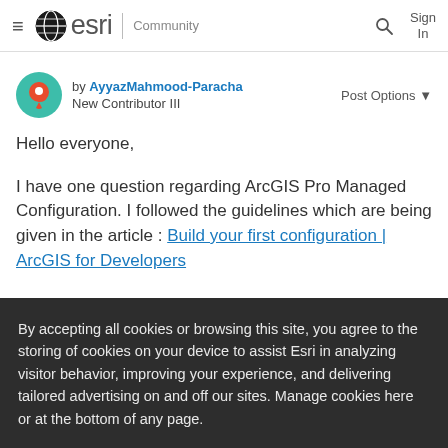esri Community — Sign In
by AyyazMahmood-Paracha New Contributor III    Post Options ▼
Hello everyone,
I have one question regarding ArcGIS Pro Managed Configuration. I followed the guidelines which are being given in the article : Build your first configuration | ArcGIS for Developers
By accepting all cookies or browsing this site, you agree to the storing of cookies on your device to assist Esri in analyzing visitor behavior, improving your experience, and delivering tailored advertising on and off our sites. Manage cookies here or at the bottom of any page.